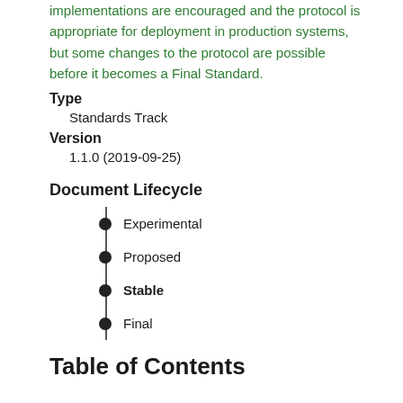implementations are encouraged and the protocol is appropriate for deployment in production systems, but some changes to the protocol are possible before it becomes a Final Standard.
Type
Standards Track
Version
1.1.0 (2019-09-25)
Document Lifecycle
Experimental
Proposed
Stable
Final
Table of Contents